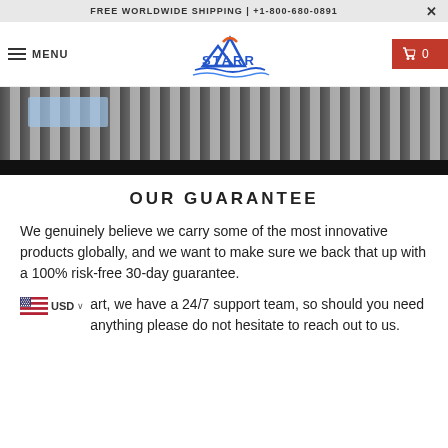FREE WORLDWIDE SHIPPING | +1-800-680-0891
[Figure (screenshot): Navigation bar with hamburger menu (MENU), Starr logo in center, and red cart button with 0 items on right]
[Figure (photo): Person in striped black and white shirt, partial view, with a blue box or package in foreground]
OUR GUARANTEE
We genuinely believe we carry some of the most innovative products globally, and we want to make sure we back that up with a 100% risk-free 30-day guarantee.
art, we have a 24/7 support team, so should you need anything please do not hesitate to reach out to us.